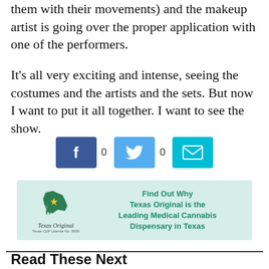them with their movements) and the makeup artist is going over the proper application with one of the performers.
It's all very exciting and intense, seeing the costumes and the artists and the sets. But now I want to put it all together. I want to see the show.
[Figure (infographic): Social sharing buttons: Facebook (0 shares), Twitter (0 shares), Email button]
[Figure (infographic): Advertisement for Texas Original: Find Out Why Texas Original is the Leading Medical Cannabis Dispensary in Texas. Texas CUP License No. 0005]
Read These Next
[Figure (photo): Partial photo strip at bottom of page]